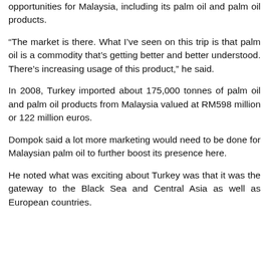opportunities for Malaysia, including its palm oil and palm oil products.
“The market is there. What I’ve seen on this trip is that palm oil is a commodity that’s getting better and better understood. There’s increasing usage of this product,” he said.
In 2008, Turkey imported about 175,000 tonnes of palm oil and palm oil products from Malaysia valued at RM598 million or 122 million euros.
Dompok said a lot more marketing would need to be done for Malaysian palm oil to further boost its presence here.
He noted what was exciting about Turkey was that it was the gateway to the Black Sea and Central Asia as well as European countries.